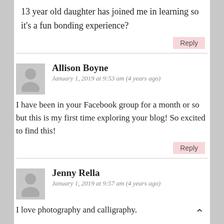13 year old daughter has joined me in learning so it's a fun bonding experience?
Reply
Allison Boyne
January 1, 2019 at 9:53 am (4 years ago)
I have been in your Facebook group for a month or so but this is my first time exploring your blog! So excited to find this!
Reply
Jenny Rella
January 1, 2019 at 9:57 am (4 years ago)
I love photography and calligraphy.